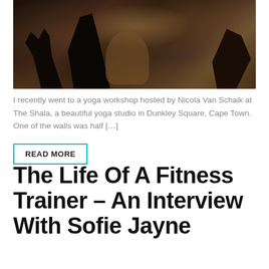[Figure (photo): People in a yoga workshop, viewed from behind, with arms raised. Dark silhouetted figures in a warmly lit studio with yoga mats and props on the floor.]
I recently went to a yoga workshop hosted by Nicola Van Schaik at The Shala, a beautiful yoga studio in Dunkley Square, Cape Town. One of the walls was half […]
READ MORE
The Life Of A Fitness Trainer – An Interview With Sofie Jayne